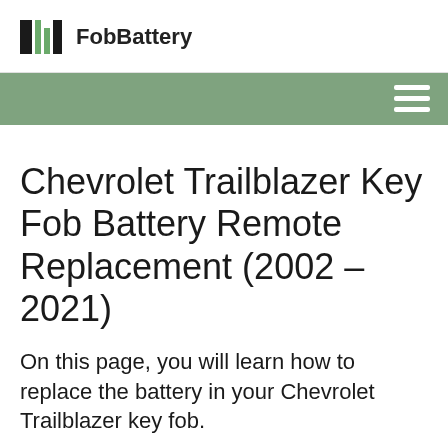FobBattery
Chevrolet Trailblazer Key Fob Battery Remote Replacement (2002 – 2021)
On this page, you will learn how to replace the battery in your Chevrolet Trailblazer key fob.
To quickly see which battery you need to buy, check the table